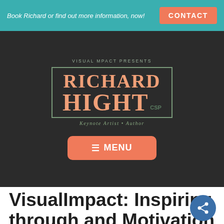Book Richard or find out more information, now!
CONTACT
[Figure (logo): Visual Mpact Presents Richard Hight CSP logo — Keynote Artist • Author]
≡ MENU
VisualImpact: Inspiring through and Motivation